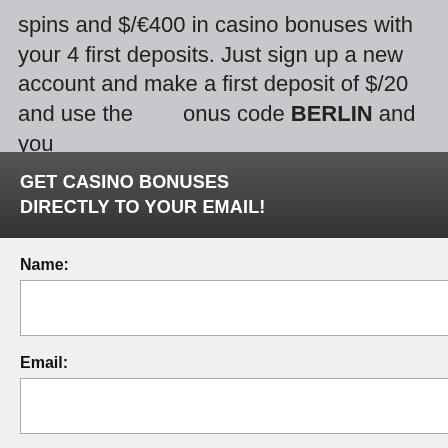spins and $/€400 in casino bonuses with your 4 first deposits. Just sign up a new account and make a first deposit of $/20 and use the bonus code BERLIN and you el + 100% bonus up to $/sit of $/€20 and enter the 0 free spins for Rook's to $/€100. With your third MOSCOW you get 30 free lot and 50% bonus up to $/ A you perience, we use + 50% Using this site, kie & privacy policy. s nus up onus free spins + 50% bonus up to
GET CASINO BONUSES DIRECTLY TO YOUR EMAIL!
Name:
Email:
Submit
By subscribing you are certifying that you have reviewed and accepted our updated Privacy and Cookie policy.
perience, we use
Using this site,
kie & privacy policy.